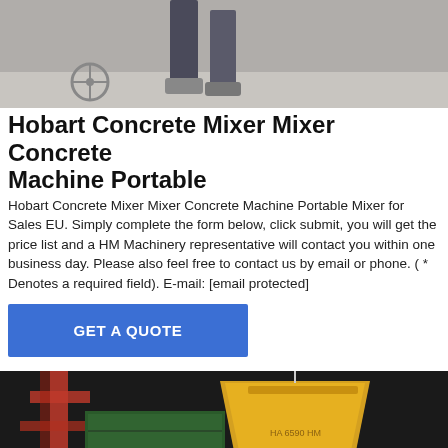[Figure (photo): Partial photo of a person on a concrete surface, upper portion cropped, showing lower body with legs and feet.]
Hobart Concrete Mixer Mixer Concrete Machine Portable
Hobart Concrete Mixer Mixer Concrete Machine Portable Mixer for Sales EU. Simply complete the form below, click submit, you will get the price list and a HM Machinery representative will contact you within one business day. Please also feel free to contact us by email or phone. ( * Denotes a required field). E-mail: [email protected]
[Figure (other): GET A QUOTE button - blue rectangular call-to-action button]
[Figure (photo): Photo of yellow industrial concrete mixer/bucket being lifted by crane with red structural frame visible in background, dark environment.]
[Figure (other): Bottom navigation bar with Send Message button (blue) and Inquiry Online button (tan/gold)]